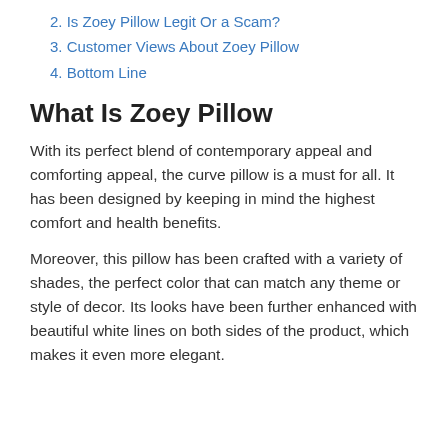2. Is Zoey Pillow Legit Or a Scam?
3. Customer Views About Zoey Pillow
4. Bottom Line
What Is Zoey Pillow
With its perfect blend of contemporary appeal and comforting appeal, the curve pillow is a must for all. It has been designed by keeping in mind the highest comfort and health benefits.
Moreover, this pillow has been crafted with a variety of shades, the perfect color that can match any theme or style of decor. Its looks have been further enhanced with beautiful white lines on both sides of the product, which makes it even more elegant.